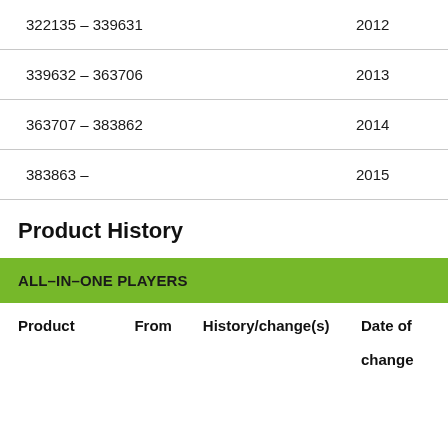| Range | Year |
| --- | --- |
| 322135 – 339631 | 2012 |
| 339632 – 363706 | 2013 |
| 363707 – 383862 | 2014 |
| 383863 – | 2015 |
Product History
| ALL–IN–ONE PLAYERS |
| --- |
| Product | From | History/change(s) | Date of change |